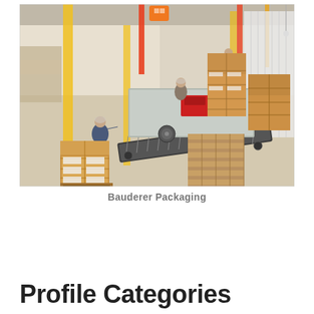[Figure (photo): Overhead view of a packaging facility named Bauderer Packaging, showing workers on an assembly/conveyor line, stacked cardboard boxes on pallets, yellow columns, and industrial equipment.]
Bauderer Packaging
Profile Categories